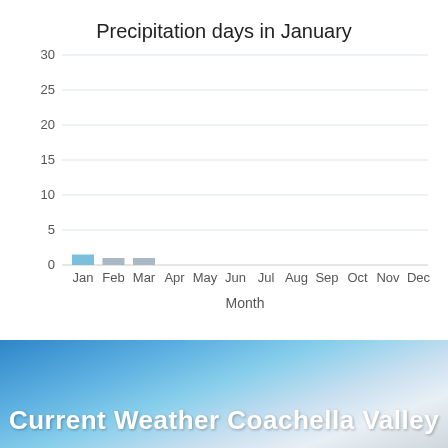[Figure (bar-chart): Precipitation days in January]
[Figure (photo): Sky background with sun and clouds, blue gradient banner with text 'Current Weather Coachella Valley']